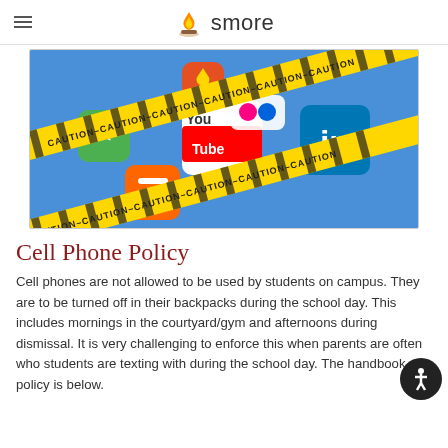smore
[Figure (photo): Social media app icons (YouTube, LinkedIn, Blogger, share icon, Flickr, Tinder) overlaid with yellow and black CAUTION tape, on a blue background.]
Cell Phone Policy
Cell phones are not allowed to be used by students on campus. They are to be turned off in their backpacks during the school day. This includes mornings in the courtyard/gym and afternoons during dismissal. It is very challenging to enforce this when parents are often who students are texting with during the school day. The handbook policy is below.